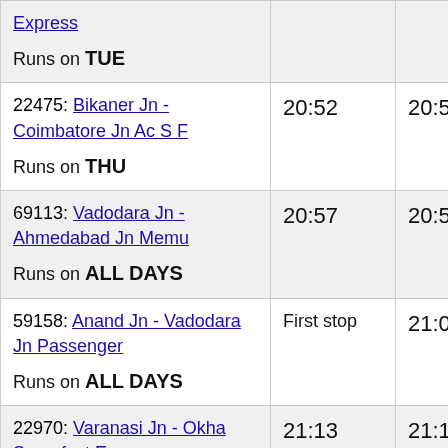| Train | Arrival | Departure |
| --- | --- | --- |
| Express
Runs on TUE |  |  |
| 22475: Bikaner Jn - Coimbatore Jn Ac S F
Runs on THU | 20:52 | 20:54 |
| 69113: Vadodara Jn - Ahmedabad Jn Memu
Runs on ALL DAYS | 20:57 | 20:58 |
| 59158: Anand Jn - Vadodara Jn Passenger
Runs on ALL DAYS | First stop | 21:05 |
| 22970: Varanasi Jn - Okha Superfast Express
Runs on SUN (partial) | 21:13 | 21:14 |